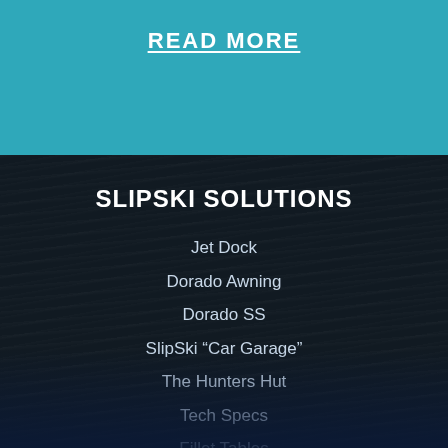READ MORE
SLIPSKI SOLUTIONS
Jet Dock
Dorado Awning
Dorado SS
SlipSki “Car Garage”
The Hunters Hut
Tech Specs
Fillet Tables